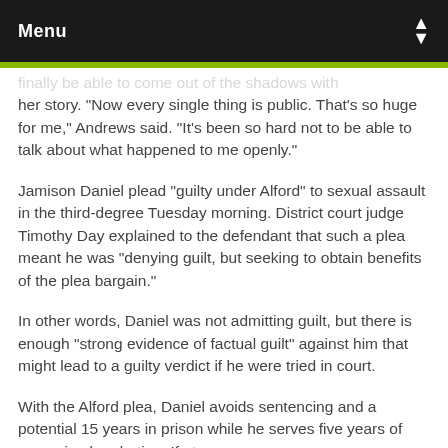Menu
finally be able to come out of the shadows with her story. “Now every single thing is public. That’s so huge for me,” Andrews said. “It’s been so hard not to be able to talk about what happened to me openly.”
Jamison Daniel plead “guilty under Alford” to sexual assault in the third-degree Tuesday morning. District court judge Timothy Day explained to the defendant that such a plea meant he was “denying guilt, but seeking to obtain benefits of the plea bargain.”
In other words, Daniel was not admitting guilt, but there is enough “strong evidence of factual guilt” against him that might lead to a guilty verdict if he were tried in court.
With the Alford plea, Daniel avoids sentencing and a potential 15 years in prison while he serves five years of supervised probation. If at